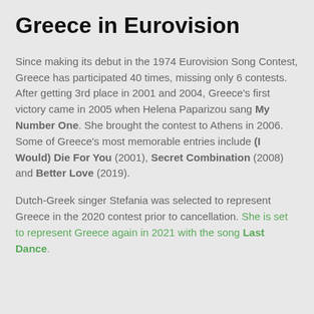Greece in Eurovision
Since making its debut in the 1974 Eurovision Song Contest, Greece has participated 40 times, missing only 6 contests. After getting 3rd place in 2001 and 2004, Greece's first victory came in 2005 when Helena Paparizou sang My Number One. She brought the contest to Athens in 2006. Some of Greece's most memorable entries include (I Would) Die For You (2001), Secret Combination (2008) and Better Love (2019).
Dutch-Greek singer Stefania was selected to represent Greece in the 2020 contest prior to cancellation. She is set to represent Greece again in 2021 with the song Last Dance.